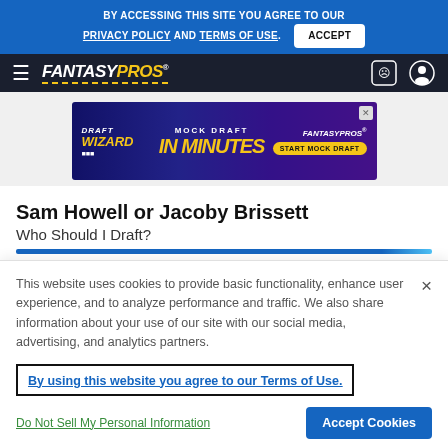BY ACCESSING THIS SITE YOU AGREE TO OUR PRIVACY POLICY AND TERMS OF USE. ACCEPT
[Figure (logo): FantasyPros logo with navigation bar on dark background]
[Figure (infographic): Draft Wizard - Mock Draft In Minutes - FantasyPros advertisement banner]
Sam Howell or Jacoby Brissett
Who Should I Draft?
This website uses cookies to provide basic functionality, enhance user experience, and to analyze performance and traffic. We also share information about your use of our site with our social media, advertising, and analytics partners.
By using this website you agree to our Terms of Use.
Do Not Sell My Personal Information
Accept Cookies